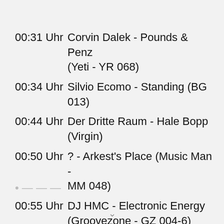00:31 Uhr   Corvin Dalek - Pounds & Penz (Yeti - YR 068)
00:34 Uhr   Silvio Ecomo - Standing (BG 013)
00:44 Uhr   Der Dritte Raum - Hale Bopp (Virgin)
00:50 Uhr   ? - Arkest's Place (Music Man - MM 048)
00:55 Uhr   DJ HMC - Electronic Energy (Groovezone - GZ 004-6)